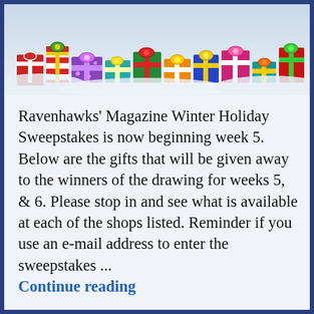[Figure (illustration): Colorful wrapped Christmas gift boxes arranged in a row against a snowy winter background banner at the top of the page.]
Ravenhawks' Magazine Winter Holiday Sweepstakes is now beginning week 5.  Below are the gifts that will be given away to the winners of the drawing for weeks  5, & 6.  Please stop in and see what is available at each of the shops listed.  Reminder if you use an e-mail address to enter the sweepstakes ...
Continue reading